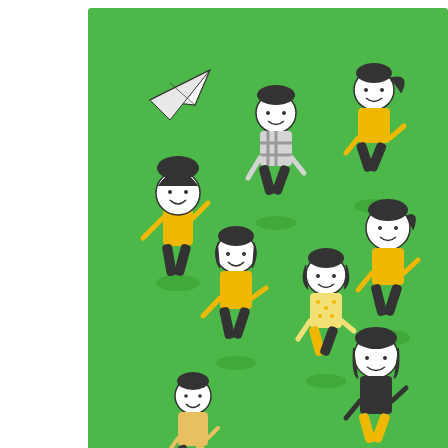[Figure (illustration): Color illustration on a green background showing a paper airplane and approximately 9-10 cartoon children running and playing. The children are drawn in a simple comic style with yellow/gold and dark clothing. Green arrow shapes appear at the bottom left.]
カラー イラスト 紙 飛行機と走っている人々
Color illustrations of paper airplane and running people
[Figure (other): Blue rounded bar/button at bottom of page with a vertical divider line]
[Figure (other): Black star icon]
お気に入り登録